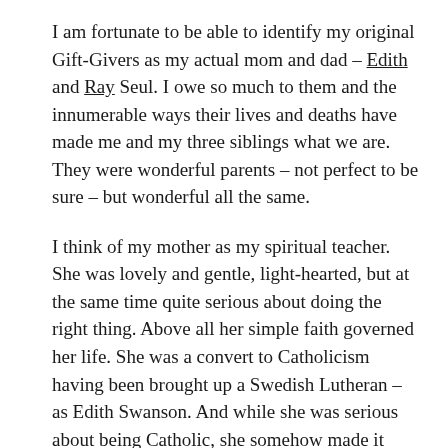I am fortunate to be able to identify my original Gift-Givers as my actual mom and dad – Edith and Ray Seul. I owe so much to them and the innumerable ways their lives and deaths have made me and my three siblings what we are. They were wonderful parents – not perfect to be sure – but wonderful all the same.
I think of my mother as my spiritual teacher. She was lovely and gentle, light-hearted, but at the same time quite serious about doing the right thing. Above all her simple faith governed her life. She was a convert to Catholicism having been brought up a Swedish Lutheran – as Edith Swanson. And while she was serious about being Catholic, she somehow made it clear that Protestants were O.K. too. Along with my female grade school teachers (the faithful Sisters of St. Joseph) mom's example